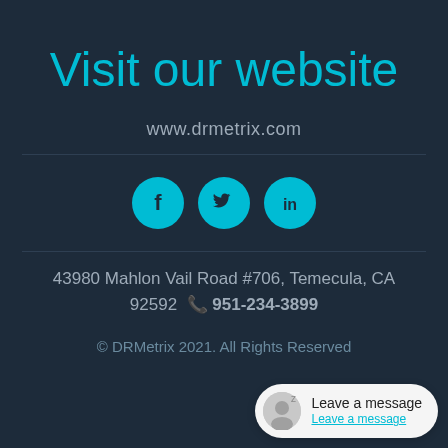Visit our website
www.drmetrix.com
[Figure (illustration): Three social media icon circles: Facebook (f), Twitter (bird), LinkedIn (in), in cyan/teal color]
43980 Mahlon Vail Road #706, Temecula, CA 92592 📞 951-234-3899
© DRMetrix 2021. All Rights Reserved
[Figure (other): Chat bubble widget in bottom right corner with avatar, 'Leave a message' text and underlined 'Leave a message' subtext]